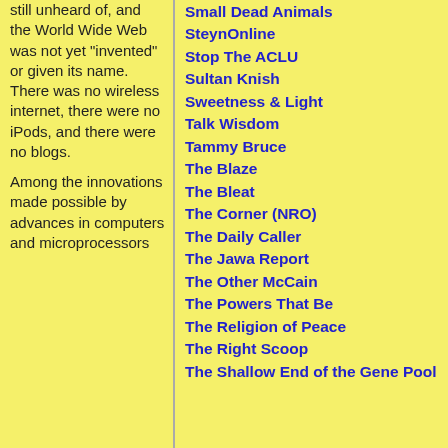still unheard of, and the World Wide Web was not yet "invented" or given its name. There was no wireless internet, there were no iPods, and there were no blogs.
Among the innovations made possible by advances in computers and microprocessors
Small Dead Animals
SteynOnline
Stop The ACLU
Sultan Knish
Sweetness & Light
Talk Wisdom
Tammy Bruce
The Blaze
The Bleat
The Corner (NRO)
The Daily Caller
The Jawa Report
The Other McCain
The Powers That Be
The Religion of Peace
The Right Scoop
The Shallow End of the Gene Pool